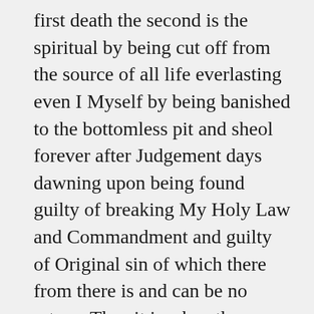first death the second is the spiritual by being cut off from the source of all life everlasting even I Myself by being banished to the bottomless pit and sheol forever after Judgement days dawning upon being found guilty of breaking My Holy Law and Commandment and guilty of Original sin of which there from there is and can be no return. Thus it is when the bodies of mankind die the souls of mankind pass as said from time into eternity to await the Judgment day when all of the unredeemed unrepentant unbelieving fallen souls of mankind guilty of breaking My Holy Laws and